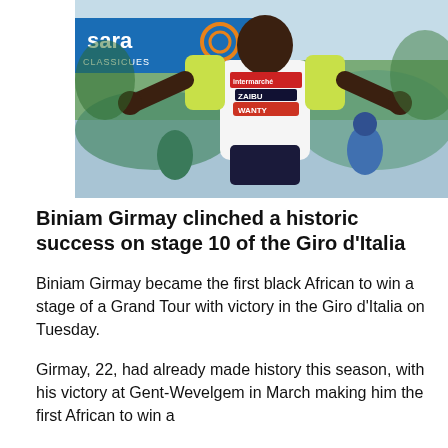[Figure (photo): Cyclist Biniam Girmay celebrating a stage win with arms outstretched, wearing an Intermarché-Wanty jersey with yellow sleeves, in front of a 'Sara' sponsor banner. Other cyclists visible in the background.]
Biniam Girmay clinched a historic success on stage 10 of the Giro d'Italia
Biniam Girmay became the first black African to win a stage of a Grand Tour with victory in the Giro d'Italia on Tuesday.
Girmay, 22, had already made history this season, with his victory at Gent-Wevelgem in March making him the first African to win a